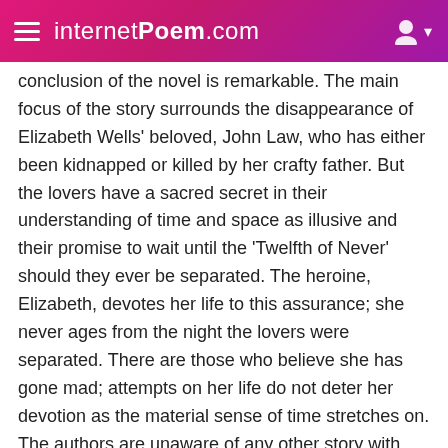internetPoem.com
conclusion of the novel is remarkable. The main focus of the story surrounds the disappearance of Elizabeth Wells' beloved, John Law, who has either been kidnapped or killed by her crafty father. But the lovers have a sacred secret in their understanding of time and space as illusive and their promise to wait until the 'Twelfth of Never' should they ever be separated. The heroine, Elizabeth, devotes her life to this assurance; she never ages from the night the lovers were separated. There are those who believe she has gone mad; attempts on her life do not deter her devotion as the material sense of time stretches on. The authors are unaware of any other story with the exact and remarkable solution to a mystery.
Christo and Jeanne-Claude
Authors: Jacob Baal-Teshuva, Christo, Jeanne-Claude
Publisher: Taschen